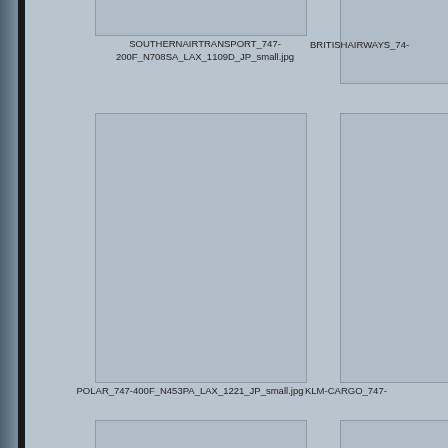[Figure (photo): Placeholder image for SOUTHERNAIRTRANSPORT_747-200F_N708SA_LAX_1109D_JP_small.jpg]
SOUTHERNAIRTRANSPORT_747-200F_N708SA_LAX_1109D_JP_small.jpg
[Figure (photo): Placeholder image for BRITISHAIRWAYS_74...]
[Figure (photo): Placeholder image for POLAR_747-400F_N453PA_LAX_1221_JP_small.jpg]
POLAR_747-400F_N453PA_LAX_1221_JP_small.jpg
[Figure (photo): Placeholder image for KLM-CARGO_747-...]
[Figure (photo): Placeholder image for CARGOLUX_747-400F_LX-YCV_BRU_1118_4_JP_small.jpg]
CARGOLUX_747-400F_LX-YCV_BRU_1118_4_JP_small.jpg
[Figure (photo): Placeholder image for ASIANA_747-40...]